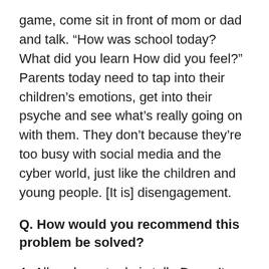game, come sit in front of mom or dad and talk. “How was school today? What did you learn How did you feel?” Parents today need to tap into their children’s emotions, get into their psyche and see what’s really going on with them. They don’t because they’re too busy with social media and the cyber world, just like the children and young people. [It is] disengagement.
Q. How would you recommend this problem be solved?
A. All we have to do is talk. Doesn’t that solve